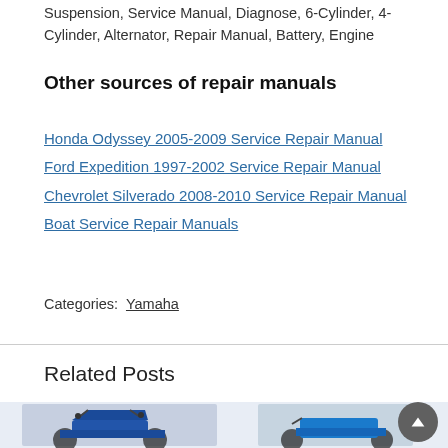Suspension, Service Manual, Diagnose, 6-Cylinder, 4-Cylinder, Alternator, Repair Manual, Battery, Engine
Other sources of repair manuals
Honda Odyssey 2005-2009 Service Repair Manual
Ford Expedition 1997-2002 Service Repair Manual
Chevrolet Silverado 2008-2010 Service Repair Manual
Boat Service Repair Manuals
Categories:  Yamaha
Related Posts
[Figure (photo): Two blue Yamaha motorcycles shown side by side as related post thumbnails]